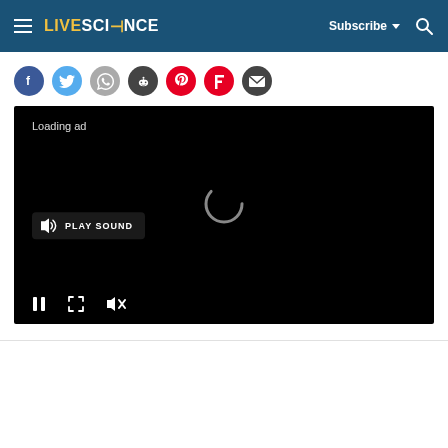LIVESCIENCE — Subscribe — Search
[Figure (screenshot): Social sharing icons row: Facebook, Twitter, WhatsApp, Reddit, Pinterest, Flipboard, Email]
[Figure (screenshot): Embedded video player with black background showing 'Loading ad' text, a 'PLAY SOUND' button, a spinning loading indicator, and bottom controls for pause, fullscreen, and mute]